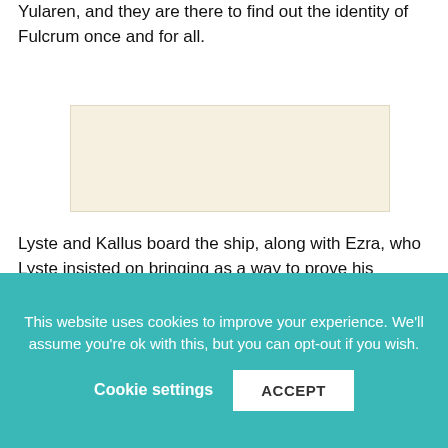Yularen, and they are there to find out the identity of Fulcrum once and for all.
[Figure (other): Advertisement placeholder box with light beige background]
Lyste and Kallus board the ship, along with Ezra, who Lyste insisted on bringing as a way to prove his effectiveness after the debacle with Princess Leia on Lothal. He has not been trusted since that incident and is extremely eager to prove himself. They are accompanied by Chopper and AP-5, who are masquerading as Imperial droids. While Kallus meets with Thrawn, and Ezra plays the part of the prisoner, the
This website uses cookies to improve your experience. We'll assume you're ok with this, but you can opt-out if you wish.
Cookie settings
ACCEPT